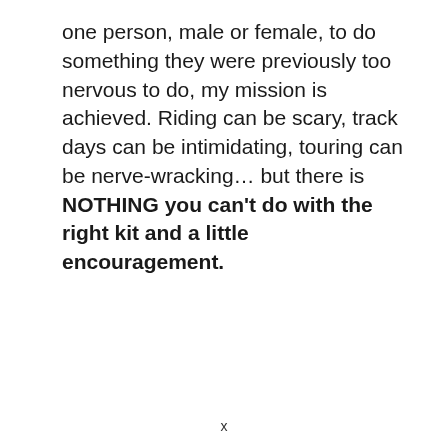one person, male or female, to do something they were previously too nervous to do, my mission is achieved. Riding can be scary, track days can be intimidating, touring can be nerve-wracking… but there is NOTHING you can't do with the right kit and a little encouragement.
x